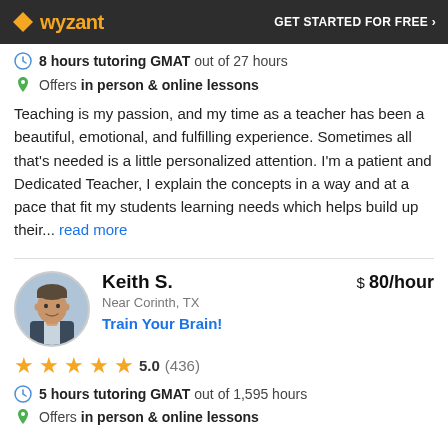wyzant — GET STARTED FOR FREE ›
8 hours tutoring GMAT out of 27 hours
Offers in person & online lessons
Teaching is my passion, and my time as a teacher has been a beautiful, emotional, and fulfilling experience. Sometimes all that's needed is a little personalized attention. I'm a patient and Dedicated Teacher, I explain the concepts in a way and at a pace that fit my students learning needs which helps build up their... read more
Keith S.
Near Corinth, TX
$ 80/hour
Train Your Brain!
5.0 (436)
5 hours tutoring GMAT out of 1,595 hours
Offers in person & online lessons